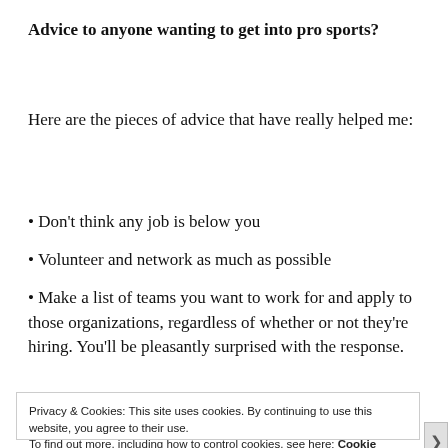Advice to anyone wanting to get into pro sports?
Here are the pieces of advice that have really helped me:
• Don't think any job is below you
• Volunteer and network as much as possible
• Make a list of teams you want to work for and apply to those organizations, regardless of whether or not they're hiring. You'll be pleasantly surprised with the response.
Privacy & Cookies: This site uses cookies. By continuing to use this website, you agree to their use. To find out more, including how to control cookies, see here: Cookie Policy
Close and accept